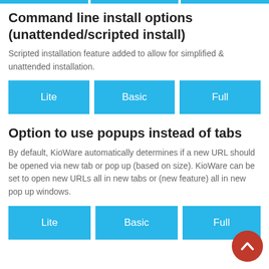Command line install options (unattended/scripted install)
Scripted installation feature added to allow for simplified & unattended installation.
[Figure (other): Three blue buttons labeled Lite, Basic, Full]
Option to use popups instead of tabs
By default, KioWare automatically determines if a new URL should be opened via new tab or pop up (based on size). KioWare can be set to open new URLs all in new tabs or (new feature) all in new pop up windows.
[Figure (other): Three blue buttons labeled Lite, Basic, Full (partially clipped at right)]